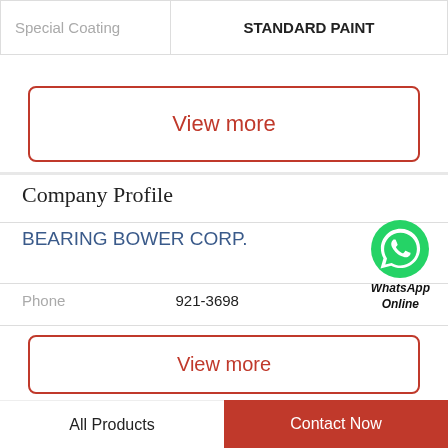| Special Coating | STANDARD PAINT |
View more
Company Profile
BEARING BOWER CORP.
[Figure (logo): WhatsApp Online green circle logo with phone handset icon, labeled WhatsApp Online]
Phone   921-3698
View more
Related News
All Products
Contact Now